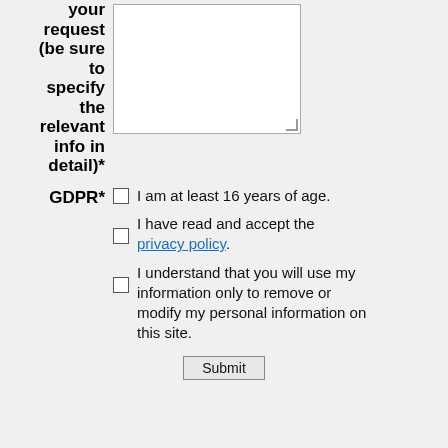your request (be sure to specify the relevant info in detail)*
GDPR*
I am at least 16 years of age.
I have read and accept the privacy policy.
I understand that you will use my information only to remove or modify my personal information on this site.